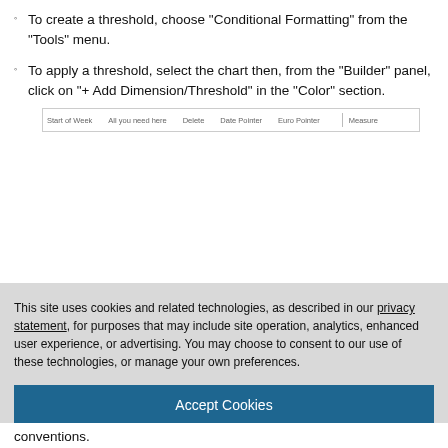To create a threshold, choose “Conditional Formatting” from the “Tools” menu.
To apply a threshold, select the chart then, from the “Builder” panel, click on “+ Add Dimension/Threshold” in the “Color” section.
[Figure (screenshot): A screenshot of a toolbar/menu bar showing column headers: Start of Week, All you need here, Delete, Date Pointer, Euro Pointer, Measure]
This site uses cookies and related technologies, as described in our privacy statement, for purposes that may include site operation, analytics, enhanced user experience, or advertising. You may choose to consent to our use of these technologies, or manage your own preferences.
Accept Cookies
More Information
Privacy Policy | Powered by: TrustArc
conventions.